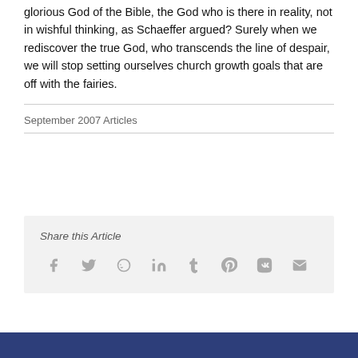glorious God of the Bible, the God who is there in reality, not in wishful thinking, as Schaeffer argued? Surely when we rediscover the true God, who transcends the line of despair, we will stop setting ourselves church growth goals that are off with the fairies.
September 2007 Articles
Share this Article
[Figure (infographic): Social media share icons: Facebook, Twitter, Reddit, LinkedIn, Tumblr, Pinterest, VK, Email]